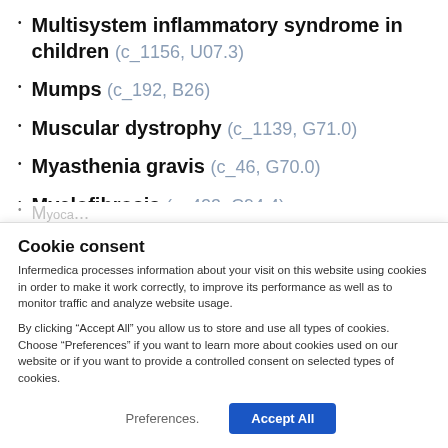Multisystem inflammatory syndrome in children (c_1156, U07.3)
Mumps (c_192, B26)
Muscular dystrophy (c_1139, G71.0)
Myasthenia gravis (c_46, G70.0)
Myelofibrosis (c_423, C94.4)
Myocardial infarction (c_140, I21, I22)
Cookie consent
Infermedica processes information about your visit on this website using cookies in order to make it work correctly, to improve its performance as well as to monitor traffic and analyze website usage.
By clicking “Accept All” you allow us to store and use all types of cookies. Choose “Preferences” if you want to learn more about cookies used on our website or if you want to provide a controlled consent on selected types of cookies.